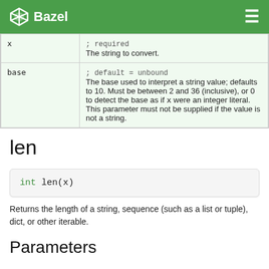Bazel
| Parameter | Description |
| --- | --- |
| x | ; required
The string to convert. |
| base | ; default = unbound
The base used to interpret a string value; defaults to 10. Must be between 2 and 36 (inclusive), or 0 to detect the base as if x were an integer literal. This parameter must not be supplied if the value is not a string. |
len
int len(x)
Returns the length of a string, sequence (such as a list or tuple), dict, or other iterable.
Parameters